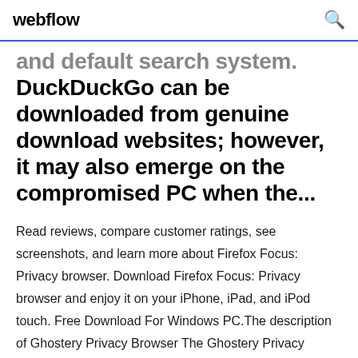webflow
and default search system. DuckDuckGo can be downloaded from genuine download websites; however, it may also emerge on the compromised PC when the...
Read reviews, compare customer ratings, see screenshots, and learn more about Firefox Focus: Privacy browser. Download Firefox Focus: Privacy browser and enjoy it on your iPhone, iPad, and iPod touch. Free Download For Windows PC.The description of Ghostery Privacy Browser The Ghostery Privacy Browser increases your browsing privacy, APUS Browser